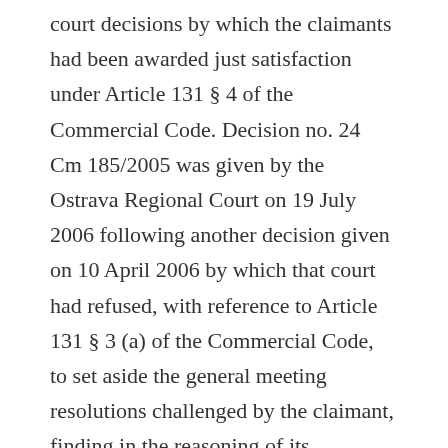court decisions by which the claimants had been awarded just satisfaction under Article 131 § 4 of the Commercial Code. Decision no. 24 Cm 185/2005 was given by the Ostrava Regional Court on 19 July 2006 following another decision given on 10 April 2006 by which that court had refused, with reference to Article 131 § 3 (a) of the Commercial Code, to set aside the general meeting resolutions challenged by the claimant, finding in the reasoning of its judgment that although there had been a breach of the claimant's rights, the violation had been negligible and had not had serious legal consequences. In the subsequent proceedings on just satisfaction, the court ordered the company to send an apology to the claimant for having breached his shareholder's rights and granted in full the claimant's claim in respect of non-pecuniary damage, submitted under Article 131 § 4 of the Commercial Code within three months from the date on which the decision of 10 April 2006 had become final. The court